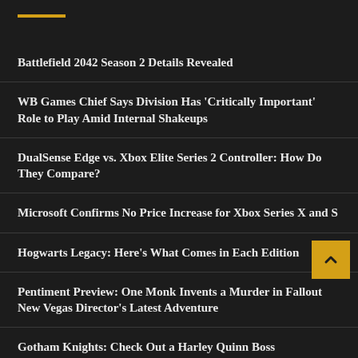Battlefield 2042 Season 2 Details Revealed
WB Games Chief Says Division Has 'Critically Important' Role to Play Amid Internal Shakeups
DualSense Edge vs. Xbox Elite Series 2 Controller: How Do They Compare?
Microsoft Confirms No Price Increase for Xbox Series X and S
Hogwarts Legacy: Here's What Comes in Each Edition
Pentiment Preview: One Monk Invents a Murder in Fallout New Vegas Director's Latest Adventure
Gotham Knights: Check Out a Harley Quinn Boss